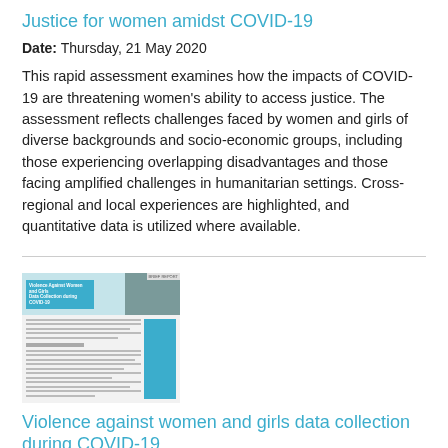Justice for women amidst COVID-19
Date: Thursday, 21 May 2020
This rapid assessment examines how the impacts of COVID-19 are threatening women's ability to access justice. The assessment reflects challenges faced by women and girls of diverse backgrounds and socio-economic groups, including those experiencing overlapping disadvantages and those facing amplified challenges in humanitarian settings. Cross-regional and local experiences are highlighted, and quantitative data is utilized where available.
[Figure (photo): Thumbnail image of a document titled 'Violence against Women and Girls Data Collection during COVID-19' with teal/blue header and text content]
Violence against women and girls data collection during COVID-19
Date: Friday, 17 April 2020
This brief paper jointly developed by UN Women and WHO summarizes principles and recommendations to those planning to embark on data collection on the impact of COVID-19 on violence...